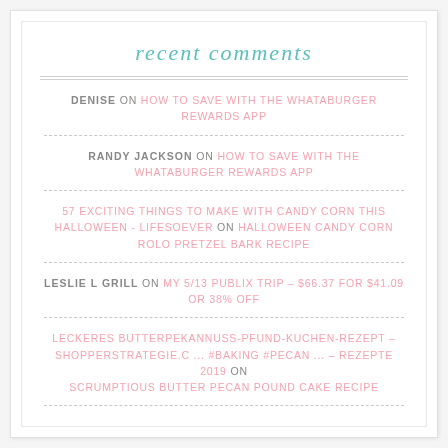recent comments
DENISE ON HOW TO SAVE WITH THE WHATABURGER REWARDS APP
RANDY JACKSON ON HOW TO SAVE WITH THE WHATABURGER REWARDS APP
57 EXCITING THINGS TO MAKE WITH CANDY CORN THIS HALLOWEEN - LIFESOEVER ON HALLOWEEN CANDY CORN ROLO PRETZEL BARK RECIPE
LESLIE L GRILL ON MY 5/13 PUBLIX TRIP – $66.37 FOR $41.09 OR 38% OFF
LECKERES BUTTERPEKANNUSS-PFUND-KUCHEN-REZEPT – SHOPPERSTRATEGIE.C ... #BAKING #PECAN ... – REZEPTE 2019 ON SCRUMPTIOUS BUTTER PECAN POUND CAKE RECIPE